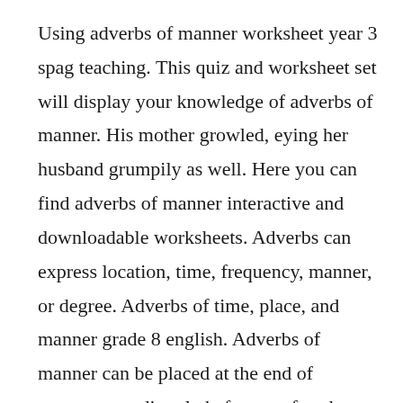Using adverbs of manner worksheet year 3 spag teaching. This quiz and worksheet set will display your knowledge of adverbs of manner. His mother growled, eying her husband grumpily as well. Here you can find adverbs of manner interactive and downloadable worksheets. Adverbs can express location, time, frequency, manner, or degree. Adverbs of time, place, and manner grade 8 english. Adverbs of manner can be placed at the end of sentences or directly before or after the verb.